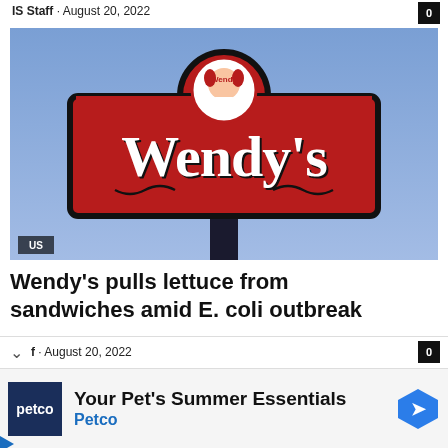IS Staff · August 20, 2022
[Figure (photo): Wendy's restaurant sign against a blue sky, showing the iconic red sign with the Wendy's logo and mascot. A 'US' badge is overlaid in the bottom-left corner of the image.]
Wendy's pulls lettuce from sandwiches amid E. coli outbreak
f · August 20, 2022
Your Pet's Summer Essentials Petco